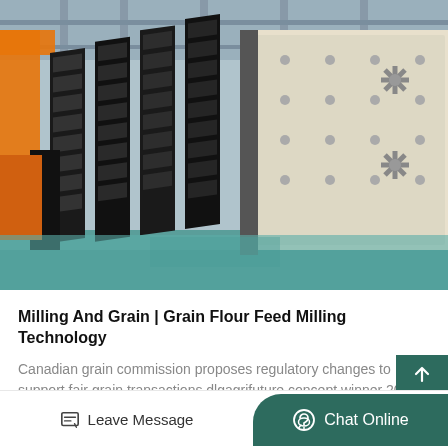[Figure (photo): Industrial vibrating screen/sieve machines stacked in a factory warehouse. Large black and cream/white colored vibrating screen panels arranged in rows on a factory floor with steel structure visible in background.]
Milling And Grain | Grain Flour Feed Milling Technology
Canadian grain commission proposes regulatory changes to support fair grain transactions dlgagrifuture concept winner 20
Leave Message   Chat Online